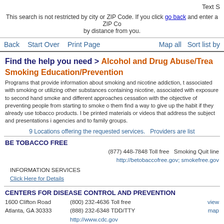Text S
This search is not restricted by city or ZIP Code. If you click go back and enter a ZIP Co... by distance from you.
Back   Start Over   Print Page   Map all   Sort list by
Find the help you need > Alcohol and Drug Abuse/Trea... Smoking Education/Prevention
Programs that provide information about smoking and nicotine addiction, t... associated with smoking or utilizing other substances containing nicotine,... associated with exposure to second hand smoke and different approaches... cessation with the objective of preventing people from starting to smoke o... them find a way to give up the habit if they already use tobacco products. I... be printed materials or videos that address the subject and presentations i... agencies and to family groups.
9 Locations offering the requested services.   Providers are list...
BE TOBACCO FREE
(877) 448-7848 Toll free   Smoking Quit line
http://betobaccofree.gov; smokefree.gov
INFORMATION SERVICES
Click Here for Details
CENTERS FOR DISEASE CONTROL AND PREVENTION
1600 Clifton Road
Atlanta, GA 30333
(800) 232-4636 Toll free
(888) 232-6348 TDD/TTY
http://www.cdc.gov
view
map
HEALTH SUPPORTIVE SERVICES